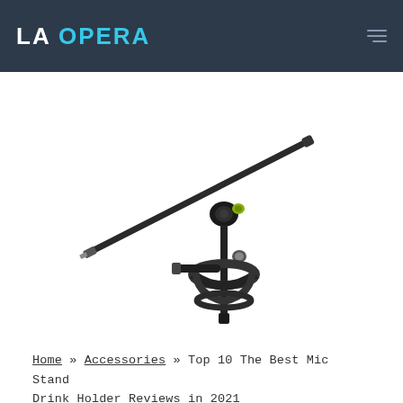LA OPERA
[Figure (photo): A mic stand boom arm with a drink holder clamp attached to the vertical pole, shown on a white background. The boom arm extends diagonally with a counterweight on one end and a mic clip adapter on the other. A circular drink/cup holder clamp is attached near the base of the vertical pole.]
Home » Accessories » Top 10 The Best Mic Stand Drink Holder Reviews in 2021